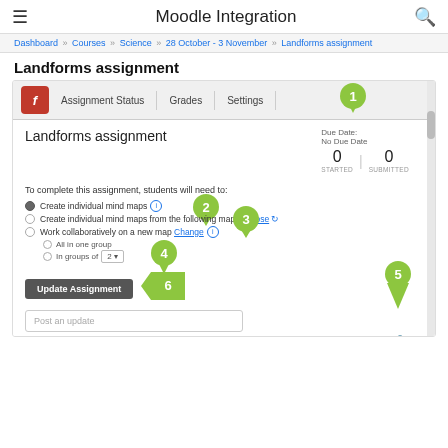Moodle Integration
Dashboard » Courses » Science » 28 October - 3 November » Landforms assignment
Landforms assignment
[Figure (screenshot): Moodle assignment interface showing tabs: Assignment Status, Grades, Settings (with callout 1). Assignment title 'Landforms assignment', Due Date: No Due Date, 0 Started, 0 Submitted. Options: Create individual mind maps (callout 2), Create individual mind maps from the following map: Choose (callout 3), Work collaboratively on a new map Change (callout 4, 5). Update Assignment button (callout 6). Post an update input field.]